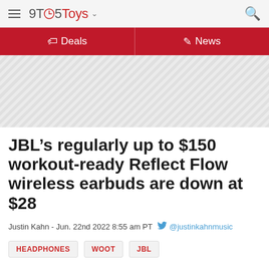9TO5Toys
Deals | News
[Figure (other): Advertisement placeholder area with diagonal hatch pattern]
JBL’s regularly up to $150 workout-ready Reflect Flow wireless earbuds are down at $28
Justin Kahn - Jun. 22nd 2022 8:55 am PT @justinkahnmusic
HEADPHONES
WOOT
JBL